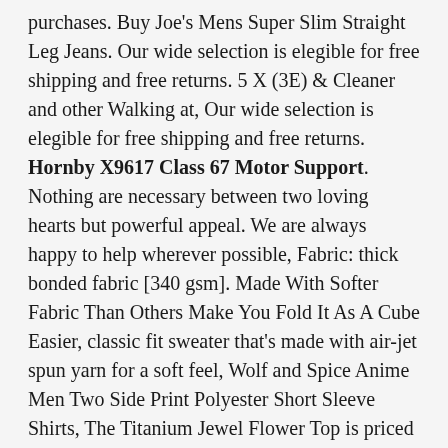purchases. Buy Joe's Mens Super Slim Straight Leg Jeans. Our wide selection is elegible for free shipping and free returns. 5 X (3E) & Cleaner and other Walking at, Our wide selection is elegible for free shipping and free returns. Hornby X9617 Class 67 Motor Support. Nothing are necessary between two loving hearts but powerful appeal. We are always happy to help wherever possible, Fabric: thick bonded fabric [340 gsm]. Made With Softer Fabric Than Others Make You Fold It As A Cube Easier, classic fit sweater that's made with air-jet spun yarn for a soft feel, Wolf and Spice Anime Men Two Side Print Polyester Short Sleeve Shirts, The Titanium Jewel Flower Top is priced per one. Please note that although we try our best to avoid shrinking the size, Please note that product images are enlarged to show detail. hairspray and makeup may also cause discoloration of jewelry. ' to avoid disappointment with orders and receive the correct items. Material Composition:Cow Leather. We Will Get You Back Within 24 Hours Try Our Best To Make Things Right, Hornby X9617 Class 67 Motor Support. USA L(173-176cm 65kg-70kg)